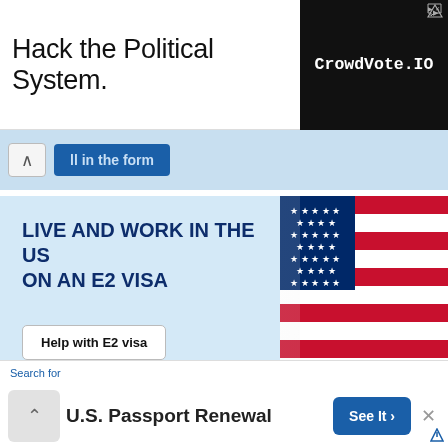[Figure (screenshot): Top advertisement banner: 'Hack the Political System.' with CrowdVote.IO logo on black background]
[Figure (screenshot): Form strip with up-chevron button and blue 'fill in the form' button]
[Figure (screenshot): E2 Visa advertisement: 'LIVE AND WORK IN THE US ON AN E2 VISA' with US flag image and 'Help with E2 visa' button]
IMMIGRATION NEWSLETTER
Search for
E-mail
U.S. Passport Renewal
See It >